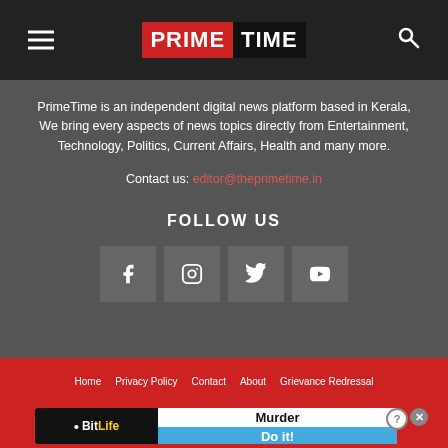PRIME TIME
PrimeTime is an independent digital news platform based in Kerala, We bring every aspects of news topics directly from Entertainment, Technology, Politics, Current Affairs, Health and many more.
Contact us: editor@theprimetime.in
FOLLOW US
[Figure (infographic): Social media icons: Facebook, Instagram, Twitter, YouTube]
Home   Privacy Policy   Contact   About   Grievance Redressal
[Figure (infographic): BitLife advertisement banner: Murder Do it!]